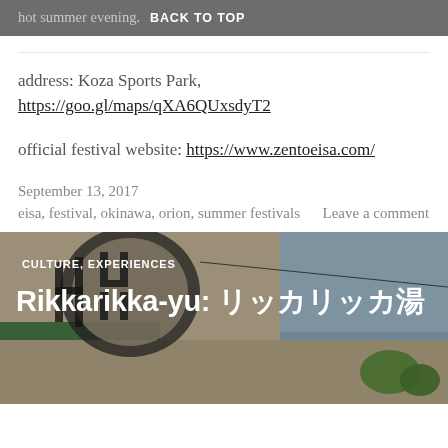hot summer evening.   BACK TO TOP
address: Koza Sports Park, https://goo.gl/maps/qXA6QUxsdyT2
official festival website: https://www.zentoeisa.com/
September 13, 2017
eisa, festival, okinawa, orion, summer festivals     Leave a comment
[Figure (photo): Photo of a building with Japanese signage, showing a storefront with large illustrated characters painted on the wall, blue sky and trees in the background. Text overlay reads CULTURE, EXPERIENCES and Rikkarikka-yu: リッカリッカ湯]